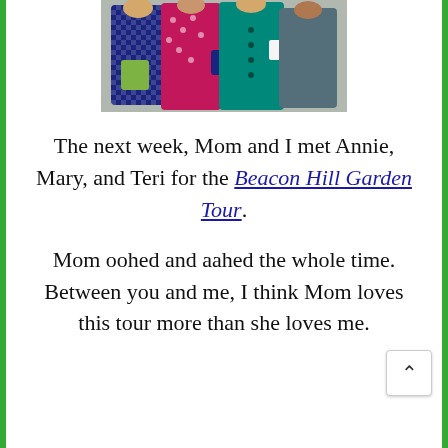[Figure (photo): Group of women standing together outdoors, wearing colorful coats and carrying bags.]
The next week, Mom and I met Annie, Mary, and Teri for the Beacon Hill Garden Tour.
Mom oohed and aahed the whole time. Between you and me, I think Mom loves this tour more than she loves me.